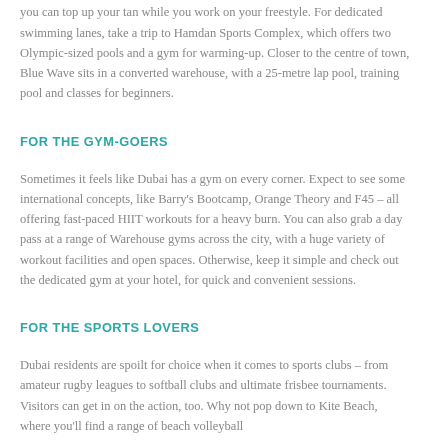beach. The city's pristine public beaches have safe zones for swimmers, so you can top up your tan while you work on your freestyle. For dedicated swimming lanes, take a trip to Hamdan Sports Complex, which offers two Olympic-sized pools and a gym for warming-up. Closer to the centre of town, Blue Wave sits in a converted warehouse, with a 25-metre lap pool, training pool and classes for beginners.
FOR THE GYM-GOERS
Sometimes it feels like Dubai has a gym on every corner. Expect to see some international concepts, like Barry's Bootcamp, Orange Theory and F45 – all offering fast-paced HIIT workouts for a heavy burn. You can also grab a day pass at a range of Warehouse gyms across the city, with a huge variety of workout facilities and open spaces. Otherwise, keep it simple and check out the dedicated gym at your hotel, for quick and convenient sessions.
FOR THE SPORTS LOVERS
Dubai residents are spoilt for choice when it comes to sports clubs – from amateur rugby leagues to softball clubs and ultimate frisbee tournaments. Visitors can get in on the action, too. Why not pop down to Kite Beach, where you'll find a range of beach volleyball